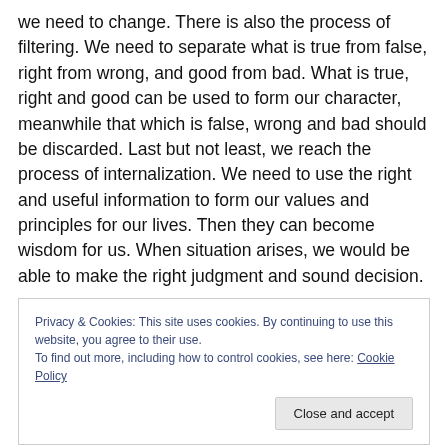we need to change. There is also the process of filtering. We need to separate what is true from false, right from wrong, and good from bad. What is true, right and good can be used to form our character, meanwhile that which is false, wrong and bad should be discarded. Last but not least, we reach the process of internalization. We need to use the right and useful information to form our values and principles for our lives. Then they can become wisdom for us. When situation arises, we would be able to make the right judgment and sound decision.
Privacy & Cookies: This site uses cookies. By continuing to use this website, you agree to their use. To find out more, including how to control cookies, see here: Cookie Policy
Close and accept